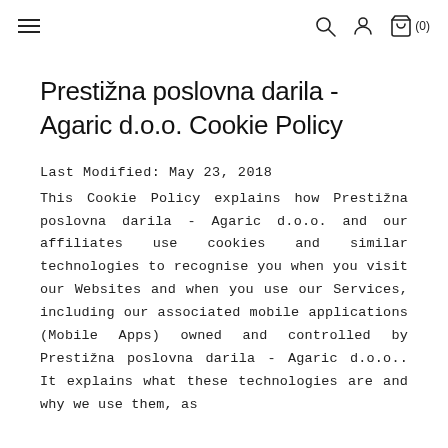≡  🔍  👤  🛍 (0)
Prestižna poslovna darila - Agaric d.o.o. Cookie Policy
Last Modified: May 23, 2018
This Cookie Policy explains how Prestižna poslovna darila - Agaric d.o.o. and our affiliates use cookies and similar technologies to recognise you when you visit our Websites and when you use our Services, including our associated mobile applications (Mobile Apps) owned and controlled by Prestižna poslovna darila - Agaric d.o.o.. It explains what these technologies are and why we use them, as